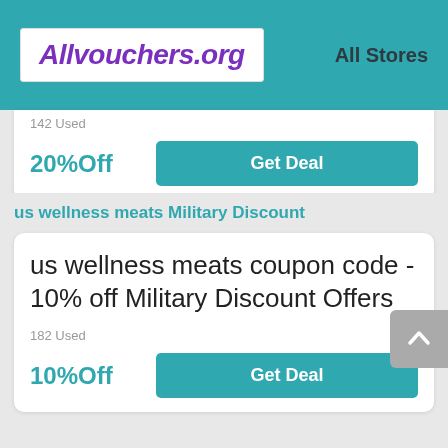Allvouchers.org   All Stores
142 Used
20%Off
Get Deal
us wellness meats Military Discount
us wellness meats coupon code - 10% off Military Discount Offers
182 Used
10%Off
Get Deal